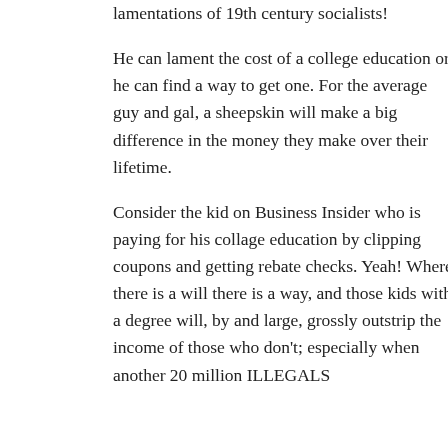lamentations of 19th century socialists!
He can lament the cost of a college education or he can find a way to get one. For the average guy and gal, a sheepskin will make a big difference in the money they make over their lifetime.
Consider the kid on Business Insider who is paying for his collage education by clipping coupons and getting rebate checks. Yeah! Where there is a will there is a way, and those kids with a degree will, by and large, grossly outstrip the income of those who don't; especially when another 20 million ILLEGALS